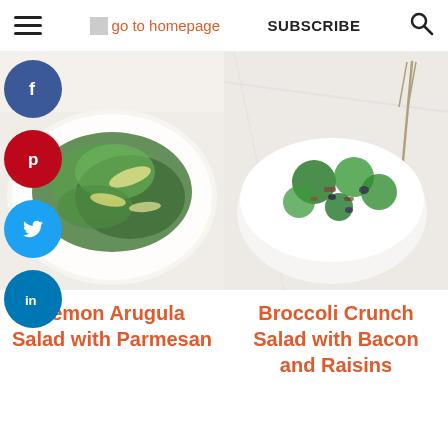☰  go to homepage  SUBSCRIBE  🔍
[Figure (photo): Lemon arugula salad with parmesan shavings on a white plate]
[Figure (photo): Broccoli crunch salad with bacon and raisins in a white bowl, with a fork on a marble surface]
Lemon Arugula Salad with Parmesan
Broccoli Crunch Salad with Bacon and Raisins